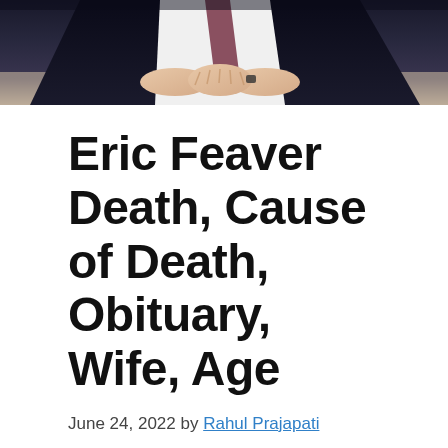[Figure (photo): Partial photo of a person in a dark suit with clasped hands visible, sitting at a table. Only the torso and hands are visible, with a blurred background.]
Eric Feaver Death, Cause of Death, Obituary, Wife, Age
June 24, 2022 by Rahul Prajapati